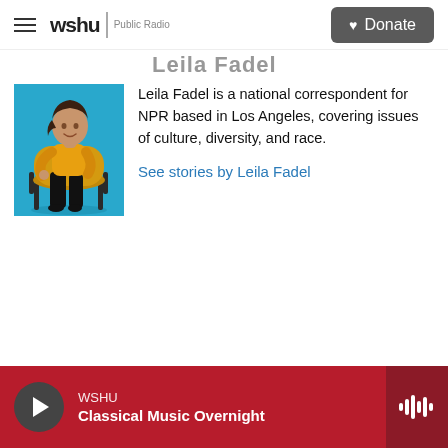wshu | Public Radio   ♥ Donate
Leila Fadel
[Figure (photo): Photo of Leila Fadel seated in an orange/yellow chair against a teal/blue background, wearing a yellow top and black pants]
Leila Fadel is a national correspondent for NPR based in Los Angeles, covering issues of culture, diversity, and race.
See stories by Leila Fadel
WSHU  Classical Music Overnight